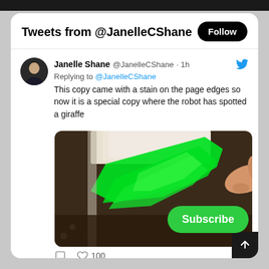Tweets from @JanelleCShane
Janelle Shane @JanelleCShane · 1h
Replying to @JanelleCShane
This copy came with a stain on the page edges so now it is a special copy where the robot has spotted a giraffe
[Figure (photo): Close-up photo of a book's page edges with a bright green stain, held by a hand. The stain appears fluorescent green on the fanned pages of the book.]
100